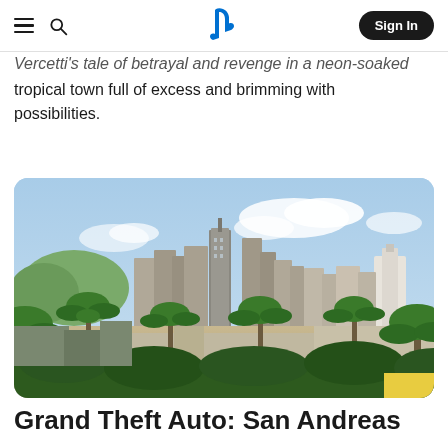≡  🔍  PlayStation  Sign In
Vercetti's tale of betrayal and revenge in a neon-soaked tropical town full of excess and brimming with possibilities.
[Figure (photo): Screenshot of Grand Theft Auto: San Andreas showing a city skyline with tall buildings, palm trees, and a bright sky. Urban landscape with skyscrapers in the background.]
Grand Theft Auto: San Andreas